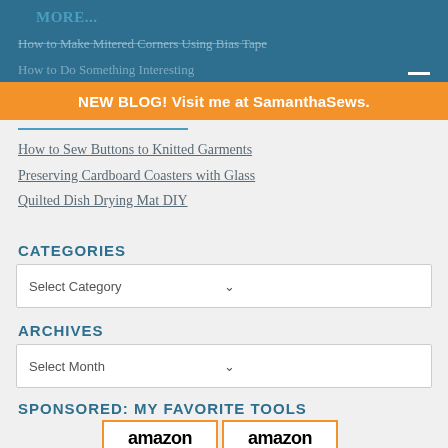MORE...
How to Make Mitered Corners Using Bias Tape
How to do Something Interesting
NEW BLOG! Visit me at SamanthaSews.
How to Sew Buttons to Knitted Garments
Preserving Cardboard Coasters with Glass
Quilted Dish Drying Mat DIY
CATEGORIES
Select Category
ARCHIVES
Select Month
SPONSORED: MY FAVORITE TOOLS
[Figure (other): Two Amazon product cards side by side, showing Amazon logo with orange arrow, and product images - a blade/razor tool and a seam ripper]
[Figure (other): Second Amazon product card]